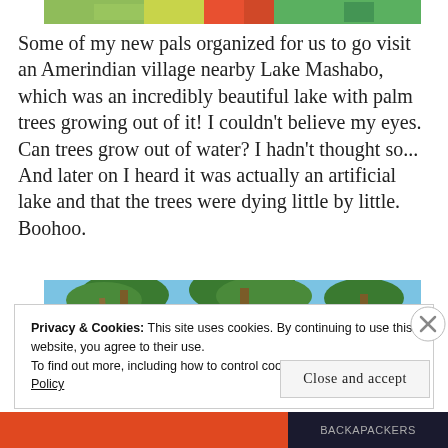[Figure (photo): Partial top image showing colorful scene with green and red tones, cropped at top of page]
Some of my new pals organized for us to go visit an Amerindian village nearby Lake Mashabo, which was an incredibly beautiful lake with palm trees growing out of it! I couldn't believe my eyes. Can trees grow out of water? I hadn't thought so... And later on I heard it was actually an artificial lake and that the trees were dying little by little. Boohoo.
[Figure (photo): Partial photo showing palm trees against a blue sky, cropped at bottom]
Privacy & Cookies: This site uses cookies. By continuing to use this website, you agree to their use.
To find out more, including how to control cookies, see here: Cookie Policy
Close and accept